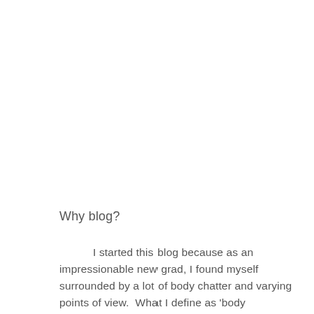Why blog?
I started this blog because as an impressionable new grad, I found myself surrounded by a lot of body chatter and varying points of view. What I define as 'body chatter' is...